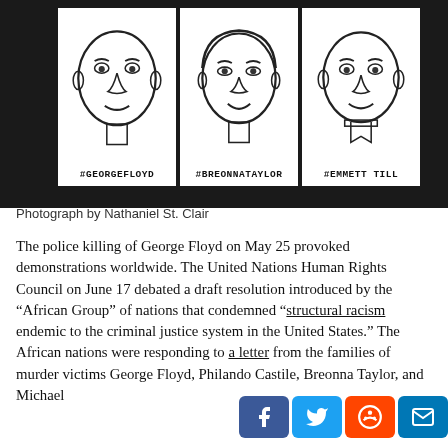[Figure (photo): Three hand-drawn sketched portraits on white paper posted on a dark/black surface. Left portrait labeled #GEORGEFLOYD, middle labeled #BREONNATAYLOR, right labeled #EMMETT TILL.]
Photograph by Nathaniel St. Clair
The police killing of George Floyd on May 25 provoked demonstrations worldwide. The United Nations Human Rights Council on June 17 debated a draft resolution introduced by the “African Group” of nations that condemned “structural racism endemic to the criminal justice system in the United States.” The African nations were responding to a letter from the families of murder victims George Floyd, Philando Castile, Breonna Taylor, and Michael [Floyd?] o[ver] human rights organizations had endorsed it...